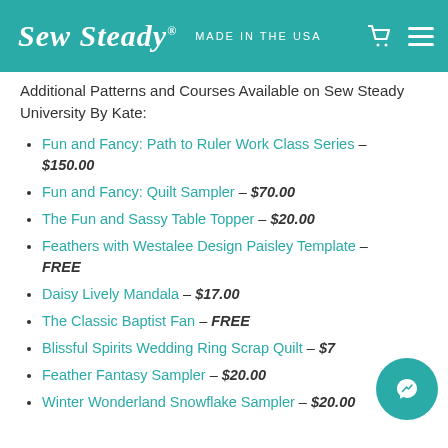Sew Steady® MADE IN THE USA
Additional Patterns and Courses Available on Sew Steady University By Kate:
Fun and Fancy: Path to Ruler Work Class Series – $150.00
Fun and Fancy: Quilt Sampler – $70.00
The Fun and Sassy Table Topper – $20.00
Feathers with Westalee Design Paisley Template – FREE
Daisy Lively Mandala – $17.00
The Classic Baptist Fan – FREE
Blissful Spirits Wedding Ring Scrap Quilt – $7...
Feather Fantasy Sampler – $20.00
Winter Wonderland Snowflake Sampler – $20.00